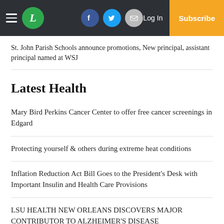L | Log In | Subscribe
St. John Parish Schools announce promotions, New principal, assistant principal named at WSJ
Latest Health
Mary Bird Perkins Cancer Center to offer free cancer screenings in Edgard
Protecting yourself & others during extreme heat conditions
Inflation Reduction Act Bill Goes to the President's Desk with Important Insulin and Health Care Provisions
LSU HEALTH NEW ORLEANS DISCOVERS MAJOR CONTRIBUTOR TO ALZHEIMER'S DISEASE